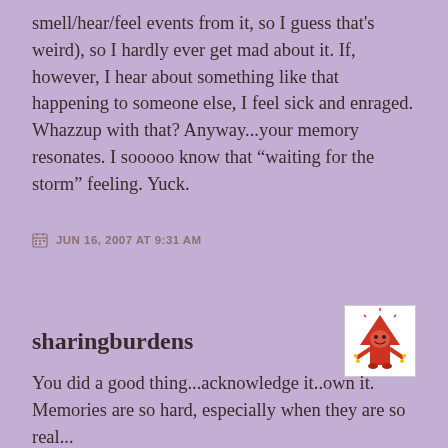smell/hear/feel events from it, so I guess that's weird), so I hardly ever get mad about it. If, however, I hear about something like that happening to someone else, I feel sick and enraged. Whazzup with that? Anyway...your memory resonates. I sooooo know that “waiting for the storm” feeling. Yuck.
JUN 16, 2007 AT 9:31 AM
sharingburdens
[Figure (illustration): Small cartoon illustration of a red arrow/mushroom character with raised arms and a smiling face]
You did a good thing...acknowledge it..own it. Memories are so hard, especially when they are so real...